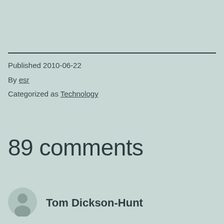Published 2010-06-22
By esr
Categorized as Technology
89 comments
Tom Dickson-Hunt